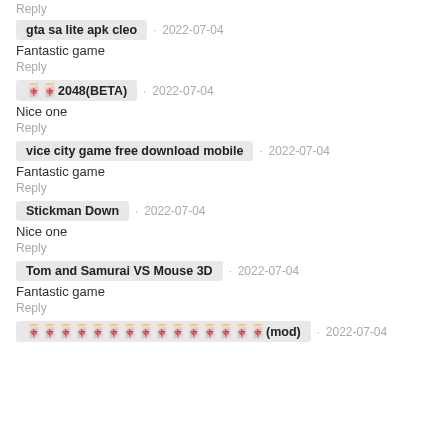Reply
gta sa lite apk cleo · 2022-07-04
Fantastic game
Reply
🀄🀄2048(BETA) · 2022-07-04
Nice one
Reply
vice city game free download mobile · 2022-07-04
Fantastic game
Reply
Stickman Down · 2022-07-04
Nice one
Reply
Tom and Samurai VS Mouse 3D · 2022-07-04
Fantastic game
Reply
🀄🀄🀄🀄🀄🀄🀄🀄🀄🀄🀄🀄🀄🀄🀄(mod) · 2022-07-04